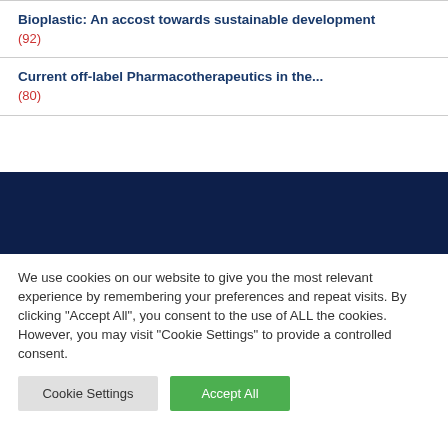Bioplastic: An accost towards sustainable development
(92)
Current off-label Pharmacotherapeutics in the...
(80)
We use cookies on our website to give you the most relevant experience by remembering your preferences and repeat visits. By clicking "Accept All", you consent to the use of ALL the cookies. However, you may visit "Cookie Settings" to provide a controlled consent.